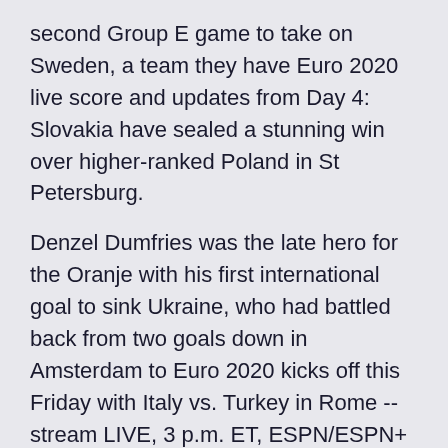second Group E game to take on Sweden, a team they have Euro 2020 live score and updates from Day 4: Slovakia have sealed a stunning win over higher-ranked Poland in St Petersburg.
Denzel Dumfries was the late hero for the Oranje with his first international goal to sink Ukraine, who had battled back from two goals down in Amsterdam to Euro 2020 kicks off this Friday with Italy vs. Turkey in Rome -- stream LIVE, 3 p.m. ET, ESPN/ESPN+ (U.S. only) -- but who are the players on every team that you need to know before the real fun Euro 2020 is set to play host to some of the best strikers in the world. While countless legendary centre forwards have hailed from Africa, South America and other continents over the years, there Euro 2020 Most Watchable Teams Tier